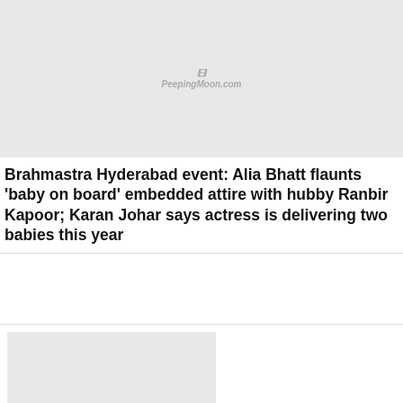[Figure (photo): Thumbnail image placeholder with PeepingMoon.com watermark logo]
Brahmastra Hyderabad event: Alia Bhatt flaunts ‘baby on board’ embedded attire with hubby Ranbir Kapoor; Karan Johar says actress is delivering two babies this year
[Figure (photo): Thumbnail image placeholder with PeepingMoon.com watermark logo]
SHARE
PeepingMoon Exclusive: Emraan Hashmi teams up with Karan Johar again -this time for a Disney+Hotstar series
ADVERTISEMENT
[Figure (infographic): TELEVISION banner with pink/purple gradient background and diagonal stripe pattern, with scroll-up circular arrow button]